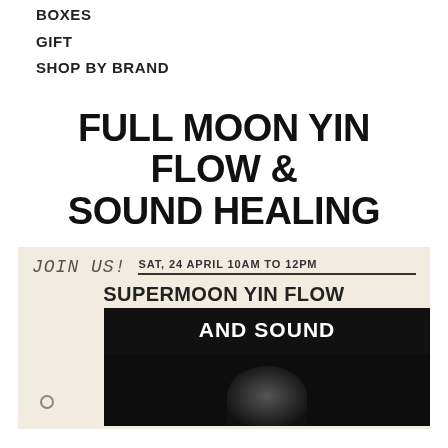BOXES
GIFT
SHOP BY BRAND
FULL MOON YIN FLOW & SOUND HEALING
[Figure (photo): Promotional event flyer for 'Supermoon Yin Flow and Sound' event. Contains handwritten text 'JOIN US!', event date 'SAT, 24 APRIL 10AM TO 12PM', title 'SUPERMOON YIN FLOW AND SOUND' on a dark background, and a partially visible photo of a person.]